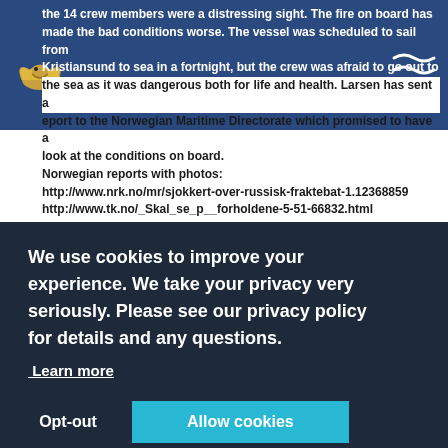the 14 crew members were a distressing sight. The fire on board has made the bad conditions worse. The vessel was scheduled to sail from Kristiansund to sea in a fortnight, but the crew was afraid to go out to the sea as it was dangerous both for life and health. Larsen has sent a eport to the Norwegian Maritime Directorate which promised to have a look at the conditions on board.
Norwegian reports with photos:
http://www.nrk.no/mr/sjokkert-over-russisk-fraktebat-1.12368859
http://www.tk.no/_Skal_se_p__forholdene-5-51-66832.html
News schreiben
We use cookies to improve your experience. We take your privacy very seriously. Please see our privacy policy for details and any questions.
Learn more
Opt-out
Allow cookies
ht ar mit em t? Hier den...